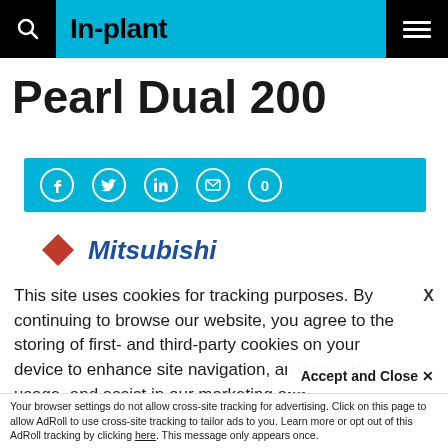In-plant
Pearl Dual 200
[Figure (other): Social sharing bar with Facebook, Twitter, LinkedIn, email icons and share count 0 on cyan background]
[Figure (logo): Mitsubishi logo with red diamond and blue italic bold text]
This site uses cookies for tracking purposes. By continuing to browse our website, you agree to the storing of first- and third-party cookies on your device to enhance site navigation, analyze site usage, and assist in our marketing and
Accept and Close ✕
Your browser settings do not allow cross-site tracking for advertising. Click on this page to allow AdRoll to use cross-site tracking to tailor ads to you. Learn more or opt out of this AdRoll tracking by clicking here. This message only appears once.